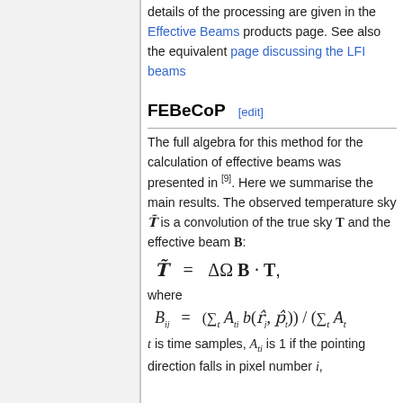details of the processing are given in the Effective Beams products page. See also the equivalent page discussing the LFI beams
FEBeCoP [edit]
The full algebra for this method for the calculation of effective beams was presented in [9]. Here we summarise the main results. The observed temperature sky T̃ is a convolution of the true sky T and the effective beam B:
where
t is time samples, A_{ti} is 1 if the pointing direction falls in pixel number i,